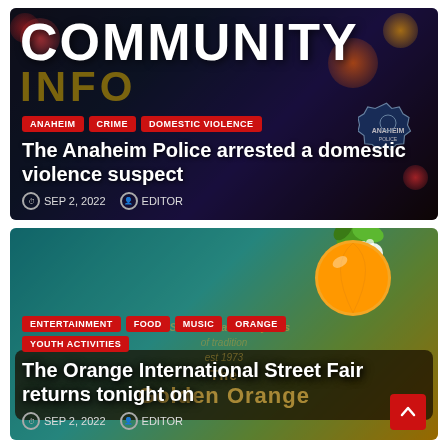[Figure (photo): Community news card with dark bokeh background and COMMUNITY text overlay. Tags: ANAHEIM, CRIME, DOMESTIC VIOLENCE. Headline: The Anaheim Police arrested a domestic violence suspect. Date: SEP 2, 2022. Author: EDITOR. Police badge visible.]
[Figure (photo): Orange International Street Fair card with teal/orange background, orange fruit graphic, dark sign overlay. Tags: ENTERTAINMENT, FOOD, MUSIC, ORANGE, YOUTH ACTIVITIES. Headline: The Orange International Street Fair returns tonight on. Date: SEP 2, 2022. Author: EDITOR.]